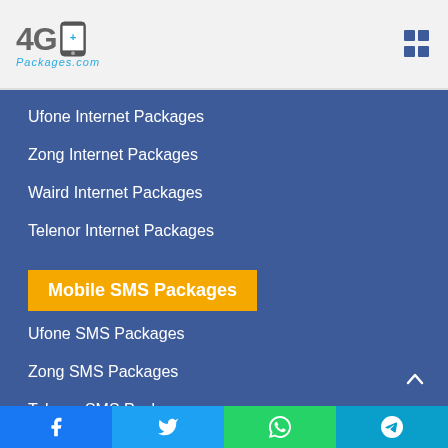4G+ Packages.com
Ufone Internet Packages
Zong Internet Packages
Waird Internet Packages
Telenor Internet Packages
Mobile SMS Packages
Ufone SMS Packages
Zong SMS Packages
Telenor SMS Packages
Jazz SMS Packages
Facebook | Twitter | WhatsApp | Telegram